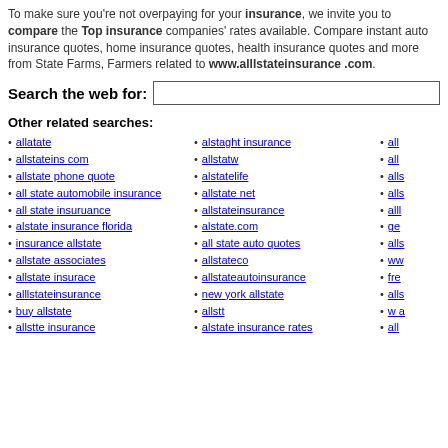To make sure you're not overpaying for your insurance, we invite you to compare the Top insurance companies' rates available. Compare instant auto insurance quotes, home insurance quotes, health insurance quotes and more from State Farms, Farmers related to www.alllstateinsurance .com.
Search the web for:
Other related searches:
allatate
allstateins com
allstate phone quote
all state automobile insurance
all state insuruance
alstate insurance florida
insurance allstate
allstate associates
allstate insurace
alllstateinsurance
buy allstate
allstte insurance
alstaght insurance
allstatw
alstatelife
allstate net
allstateinsurance
alstate.com
all state auto quotes
allstateco
allstateautoinsurance
new york allstate
allstt
alstate insurance rates